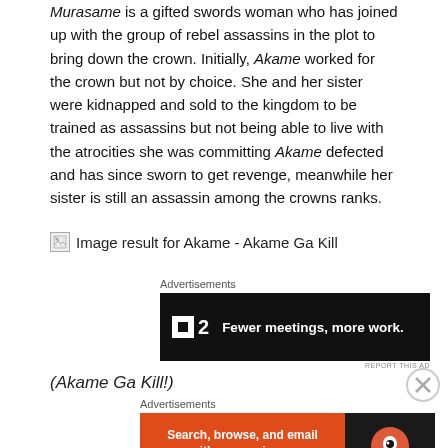Murasame is a gifted swords woman who has joined up with the group of rebel assassins in the plot to bring down the crown. Initially, Akame worked for the crown but not by choice. She and her sister were kidnapped and sold to the kingdom to be trained as assassins but not being able to live with the atrocities she was committing Akame defected and has since sworn to get revenge, meanwhile her sister is still an assassin among the crowns ranks.
[Figure (other): Broken image placeholder for: Image result for Akame - Akame Ga Kill]
[Figure (other): Advertisement banner: P2 logo with tagline 'Fewer meetings, more work.' on black background]
(Akame Ga Kill!)
[Figure (other): Advertisement banner: DuckDuckGo - Search, browse, and email with more privacy. All in One Free App]